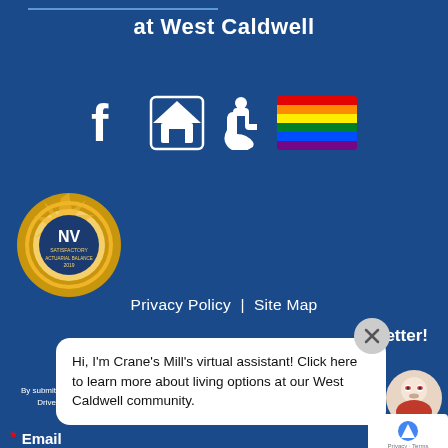at West Caldwell
[Figure (illustration): Row of icons: Facebook logo, Equal Housing Opportunity logo, wheelchair accessibility symbol, rainbow pride flag]
[Figure (logo): Gold seal/badge with text 'SATISFACTORY ACTUARIAL BALANCE 2019' and NV logo in center]
Privacy Policy  |  Site Map
Hi, I'm Crane's Mill's virtual assistant! Click here to learn more about living options at our West Caldwell community.
wsletter!
* Email
By submitting this form, you are consenting to receive marketing e... Lutheran Social Ministries of NJ, 3 Manhattan Drive, Burlington, NJ, http://www.lsmnj.org. You can revoke your consent to receive emails at ... using the SafeUnsubscribe® link, found at the bottom of every email. serviced by Constant Contact.